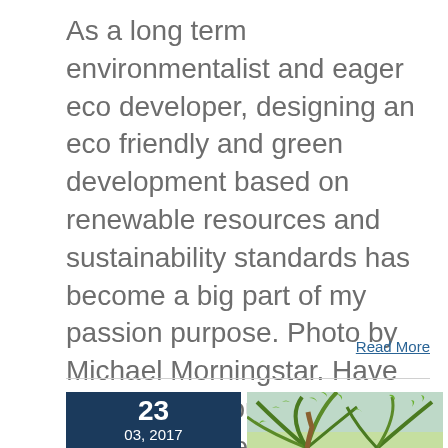As a long term environmentalist and eager eco developer, designing an eco friendly and green development based on renewable resources and sustainability standards has become a big part of my passion purpose. Photo by Michael Morningstar. Have you heard about the benefits of applying the permaculture principles for stewardship and sustainability? How well [...]
Read More
[Figure (other): Date box showing '23' and '03, 2017' in white text on dark navy background, next to a thumbnail photo of palm tree fronds]